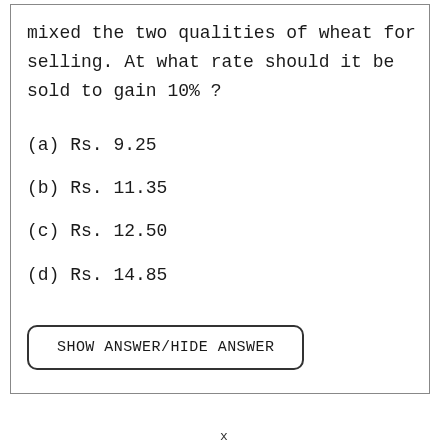mixed the two qualities of wheat for selling. At what rate should it be sold to gain 10% ?
(a) Rs. 9.25
(b) Rs. 11.35
(c) Rs. 12.50
(d) Rs. 14.85
SHOW ANSWER/HIDE ANSWER
x